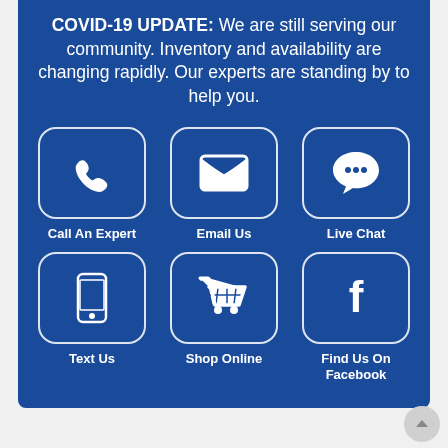COVID-19 UPDATE: We are still serving our community. Inventory and availability are changing rapidly. Our experts are standing by to help you.
[Figure (infographic): Six contact option buttons arranged in a 3x2 grid on a blue background. Row 1: Call An Expert (phone icon), Email Us (envelope icon), Live Chat (speech bubble icon). Row 2: Text Us (mobile phone icon), Shop Online (shopping cart icon), Find Us On Facebook (Facebook icon). Each button is a rounded rectangle outline with white icon inside.]